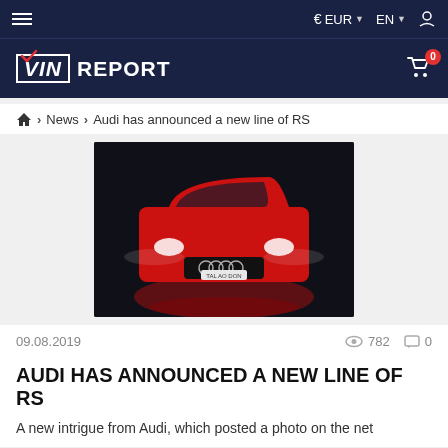VIN REPORT — € EUR | EN — navigation header
Home > News > Audi has announced a new line of RS
[Figure (photo): Front view of a red Audi RS car on a dark dramatic background with red light reflections on the floor]
09.08.2019    👁 782    💬 0
AUDI HAS ANNOUNCED A NEW LINE OF RS
A new intrigue from Audi, which posted a photo on the net